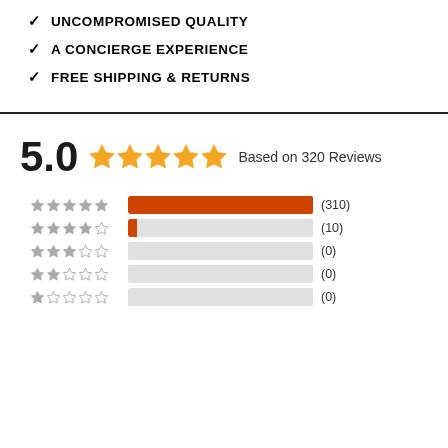✓ UNCOMPROMISED QUALITY
✓ A CONCIERGE EXPERIENCE
✓ FREE SHIPPING & RETURNS
5.0 ★★★★★ Based on 320 Reviews
[Figure (bar-chart): Rating Breakdown]